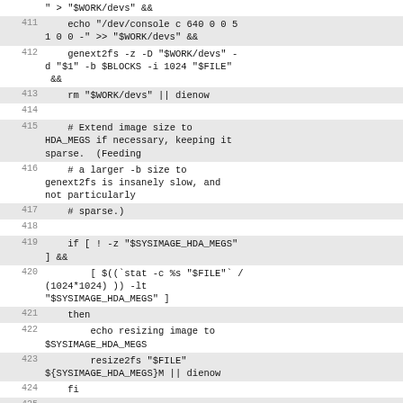" > "$WORK/devs" &&
    echo "/dev/console c 640 0 0 5 1 0 0 -" >> "$WORK/devs" &&
    genext2fs -z -D "$WORK/devs" -d "$1" -b $BLOCKS -i 1024 "$FILE" &&
    rm "$WORK/devs" || dienow
    # Extend image size to HDA_MEGS if necessary, keeping it sparse.  (Feeding
    # a larger -b size to genext2fs is insanely slow, and not particularly
    # sparse.)
    if [ ! -z "$SYSIMAGE_HDA_MEGS" ] &&
        [ $((`stat -c %s "$FILE"` / (1024*1024) )) -lt "$SYSIMAGE_HDA_MEGS" ]
    then
        echo resizing image to $SYSIMAGE_HDA_MEGS
        resize2fs "$FILE" ${SYSIMAGE_HDA_MEGS}M || dienow
    fi

    tune2fs -c 0 -i 0 $([
    "$SYS_IMAGE_TYPE" = "ext3" ] &&